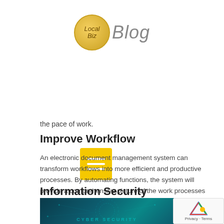LocalBiz Blog
[Figure (logo): LocalBiz Blog logo with gold circle and italic text]
the pace of work.
Improve Workflow
An electronic document management system can transform workflows into more efficient and productive processes. By automating functions, the system will provide a comprehensive picture of the work processes within the company. This process control will allow you to track incomplete tasks, know which ones are already completed, or automate repetitive tasks that will ultimately save the organization time.
Information Security
[Figure (photo): Cyber security image with teal/dark background showing circuit patterns and text CYBER SECURITY]